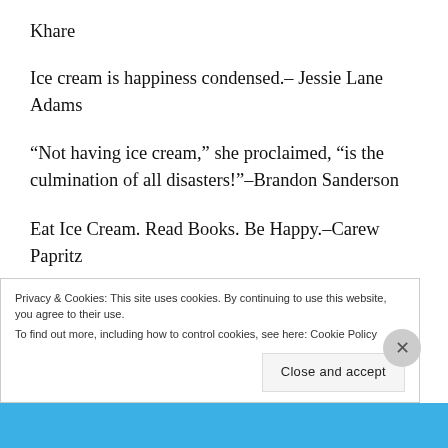Khare
Ice cream is happiness condensed.– Jessie Lane Adams
“Not having ice cream,” she proclaimed, “is the culmination of all disasters!”–Brandon Sanderson
Eat Ice Cream. Read Books. Be Happy.–Carew Papritz
I can say with unwavering certitude that I have never started a pint of Ben ‘n Jerry’s ice cream that
Privacy & Cookies: This site uses cookies. By continuing to use this website, you agree to their use.
To find out more, including how to control cookies, see here: Cookie Policy
Close and accept